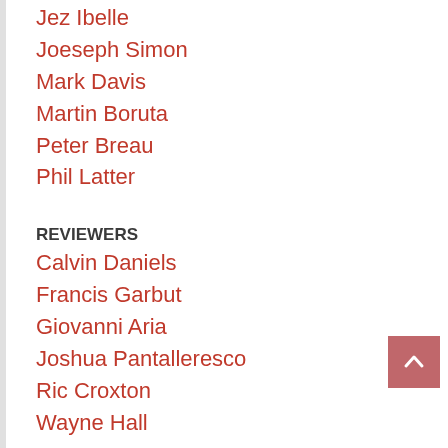Jez Ibelle
Joeseph Simon
Mark Davis
Martin Boruta
Peter Breau
Phil Latter
REVIEWERS
Calvin Daniels
Francis Garbut
Giovanni Aria
Joshua Pantalleresco
Ric Croxton
Wayne Hall
EDITORIAL STAFF
Matthew Szewczyk ♦ MANAGING EDITOR
Richard Vasseur ♦ BUREAU CHIEF CANADA
Rik Offenberger ♦ EDITOR-IN-CHIEF